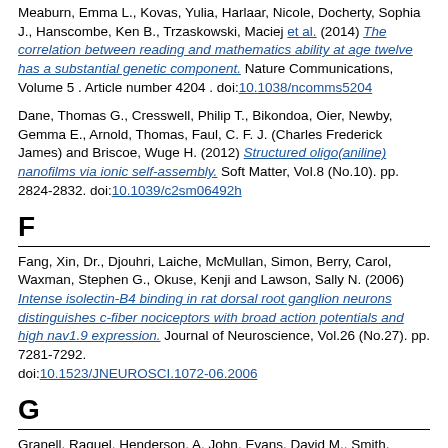Meaburn, Emma L., Kovas, Yulia, Harlaar, Nicole, Docherty, Sophia J., Hanscombe, Ken B., Trzaskowski, Maciej et al. (2014) The correlation between reading and mathematics ability at age twelve has a substantial genetic component. Nature Communications, Volume 5 . Article number 4204 . doi:10.1038/ncomms5204
Dane, Thomas G., Cresswell, Philip T., Bikondoa, Oier, Newby, Gemma E., Arnold, Thomas, Faul, C. F. J. (Charles Frederick James) and Briscoe, Wuge H. (2012) Structured oligo(aniline) nanofilms via ionic self-assembly. Soft Matter, Vol.8 (No.10). pp. 2824-2832. doi:10.1039/c2sm06492h
F
Fang, Xin, Dr., Djouhri, Laiche, McMullan, Simon, Berry, Carol, Waxman, Stephen G., Okuse, Kenji and Lawson, Sally N. (2006) Intense isolectin-B4 binding in rat dorsal root ganglion neurons distinguishes c-fiber nociceptors with broad action potentials and high nav1.9 expression. Journal of Neuroscience, Vol.26 (No.27). pp. 7281-7292. doi:10.1523/JNEUROSCI.1072-06.2006
G
Granell, Raquel, Henderson, A. John, Evans, David M., Smith, George